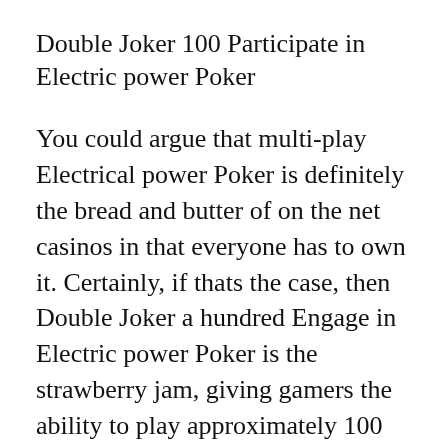Double Joker 100 Participate in Electric power Poker
You could argue that multi-play Electrical power Poker is definitely the bread and butter of on the net casinos in that everyone has to own it. Certainly, if thats the case, then Double Joker a hundred Engage in Electric power Poker is the strawberry jam, giving gamers the ability to play approximately 100 hands of movie poker at a time. Sitting down down to Participate in Double Joker one hundred can be a test of your respective wits, concentration, and endurance. For the